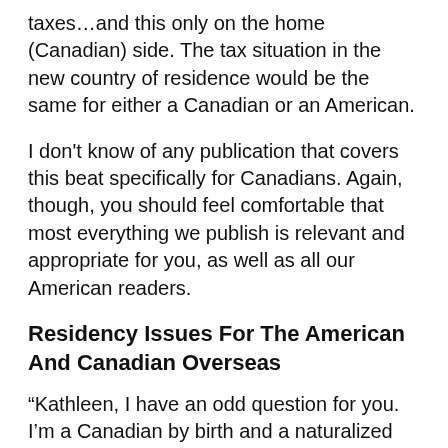taxes…and this only on the home (Canadian) side. The tax situation in the new country of residence would be the same for either a Canadian or an American.
I don't know of any publication that covers this beat specifically for Canadians. Again, though, you should feel comfortable that most everything we publish is relevant and appropriate for you, as well as all our American readers.
Residency Issues For The American And Canadian Overseas
“Kathleen, I have an odd question for you. I’m a Canadian by birth and a naturalized U.S. citizen resident in the United States for 30 years.